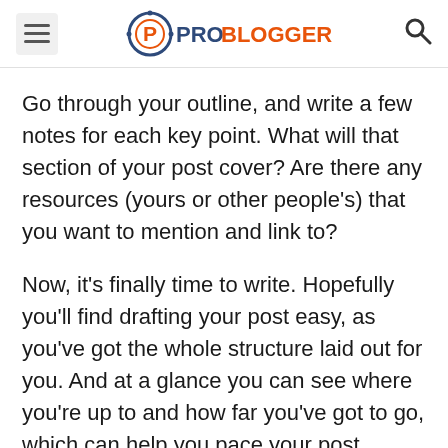PROBLOGGER
Go through your outline, and write a few notes for each key point. What will that section of your post cover? Are there any resources (yours or other people's) that you want to mention and link to?
Now, it's finally time to write. Hopefully you'll find drafting your post easy, as you've got the whole structure laid out for you. And at a glance you can see where you're up to and how far you've got to go, which can help you pace your post appropriately.